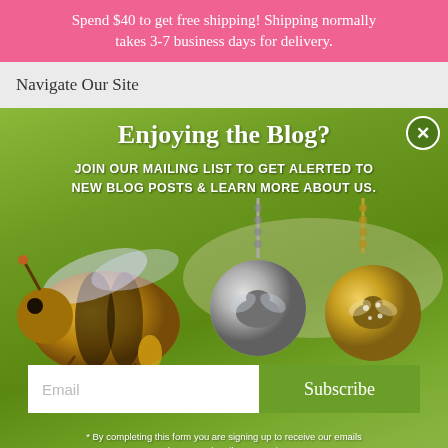Spend $40 to get free shipping! Shipping normally takes 3-7 business days for delivery.
Navigate Our Site
Enjoying the Blog?
JOIN OUR MAILING LIST TO GET ALERTED TO NEW BLOG POSTS & LEARN MORE ABOUT US.
[Figure (photo): Modal popup with green background showing a honeybee in flight on the left and bee-themed jewelry pendants on the right. Contains email subscription form.]
Email
Subscribe
* By completing this form you are signing up to receive our emails and can unsubscribe at any time.